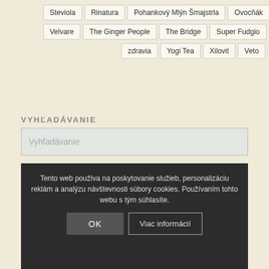Steviola
Rinatura
Pohankový Mlýn Šmajstrla
Ovocňák
Velvare
The Ginger People
The Bridge
Super Fudgio
zdravia
Yogi Tea
Xilovit
Veto
VYHĽADÁVANIE
Vyhľadávanie
Tento web používa na poskytovanie služieb, personalizáciu reklám a analýzu návštevnosti súbory cookies. Používaním tohto webu s tým súhlasíte.
OK
Viac informácií
Olej olivový panenský lisovaný za studena Latzino 500ml
€7.55 s DPH